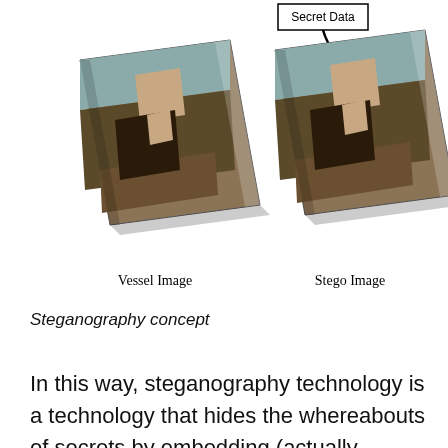[Figure (schematic): Steganography diagram showing a Vessel Image (Mona Lisa tilted) with 'Secret Data' label and arrow labeled 'Embed' pointing to a large white hollow arrow pointing right, leading to a Stego Image (Mona Lisa tilted). Labels 'Vessel Image' and 'Stego Image' appear below respective images.]
Steganography concept
In this way, steganography technology is a technology that hides the whereabouts of secrets by embedding (actually replacing ) important secret information in inconspicuous media data , and the embedded information is very large. It's safe. There are various specific embedding methods, but there is no